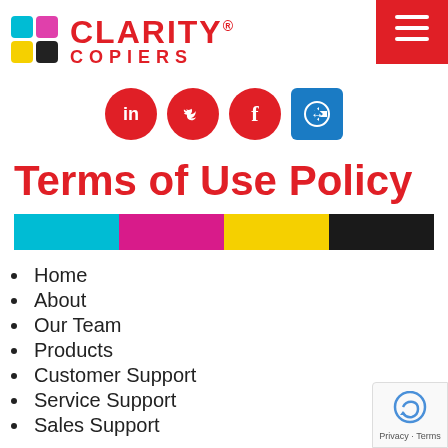CLARITY® COPIERS
[Figure (logo): Clarity Copiers logo with colorful squares icon and red CLARITY® COPIERS text, plus red hamburger menu button top right]
[Figure (infographic): Social media icons row: LinkedIn (in), Twitter (bird), Facebook (f) as red circles, and TeamViewer double-arrow as blue square]
Terms of Use Policy
[Figure (infographic): CMYK color bar: cyan, magenta, yellow, black bands]
Home
About
Our Team
Products
Customer Support
Service Support
Sales Support